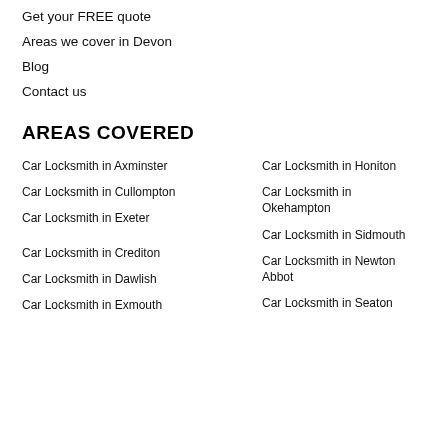Get your FREE quote
Areas we cover in Devon
Blog
Contact us
AREAS COVERED
Car Locksmith in Axminster
Car Locksmith in Honiton
Car Locksmith in Cullompton
Car Locksmith in Okehampton
Car Locksmith in Exeter
Car Locksmith in Sidmouth
Car Locksmith in Crediton
Car Locksmith in Newton Abbot
Car Locksmith in Dawlish
Car Locksmith in Seaton
Car Locksmith in Exmouth